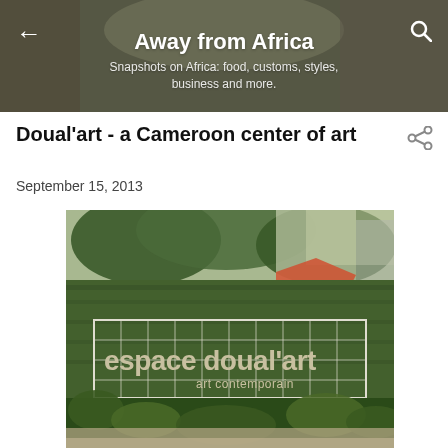Away from Africa
Snapshots on Africa: food, customs, styles, business and more.
Doual'art - a Cameroon center of art
September 15, 2013
[Figure (photo): Outdoor sign reading 'espace doual'art art contemporain' mounted on a grid frame against a green hedge wall with trees in background]